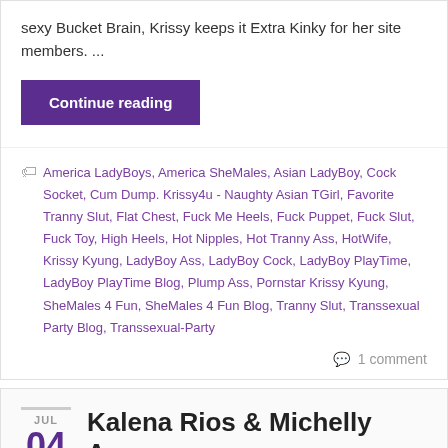sexy Bucket Brain, Krissy keeps it Extra Kinky for her site members. …
Continue reading
America LadyBoys, America SheMales, Asian LadyBoy, Cock Socket, Cum Dump, Krissy4u - Naughty Asian TGirl, Favorite Tranny Slut, Flat Chest, Fuck Me Heels, Fuck Puppet, Fuck Slut, Fuck Toy, High Heels, Hot Nipples, Hot Tranny Ass, HotWife, Krissy Kyung, LadyBoy Ass, LadyBoy Cock, LadyBoy PlayTime, LadyBoy PlayTime Blog, Plump Ass, Pornstar Krissy Kyung, SheMales 4 Fun, SheMales 4 Fun Blog, Tranny Slut, Transsexual Party Blog, Transsexual-Party
1 comment
JUL 04
Kalena Rios & Michelly Arau & Local Bitch Boy Enjoying R… Raunchy Sex!